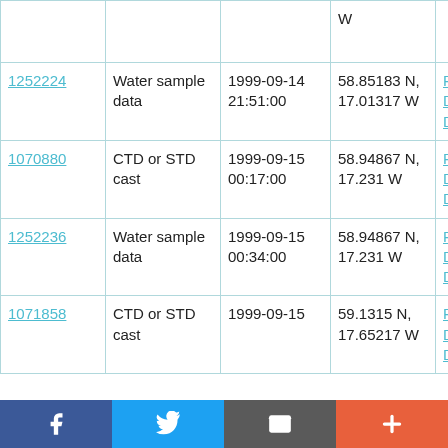| ID | Type | Date | Coordinates | Ship |
| --- | --- | --- | --- | --- |
| (partial row - coordinates only visible) |  |  | W |  |
| 1252224 | Water sample data | 1999-09-14 21:51:00 | 58.85183 N, 17.01317 W | RRS Discovery D242 |
| 1070880 | CTD or STD cast | 1999-09-15 00:17:00 | 58.94867 N, 17.231 W | RRS Discovery D242 |
| 1252236 | Water sample data | 1999-09-15 00:34:00 | 58.94867 N, 17.231 W | RRS Discovery D242 |
| 1071858 | CTD or STD cast | 1999-09-15 | 59.1315 N, 17.65217 W | RRS Discovery D242 |
Social share bar: Facebook, Twitter, Email, Add